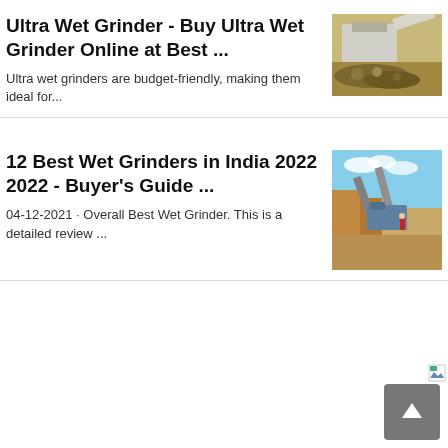Ultra Wet Grinder - Buy Ultra Wet Grinder Online at Best ...
Ultra wet grinders are budget-friendly, making them ideal for...
[Figure (photo): Industrial stone crushing machinery with pile of rocks]
12 Best Wet Grinders in India 2022 2022 - Buyer's Guide ...
04-12-2021 · Overall Best Wet Grinder. This is a detailed review ...
[Figure (photo): Industrial quarry conveyor belt machinery under blue sky]